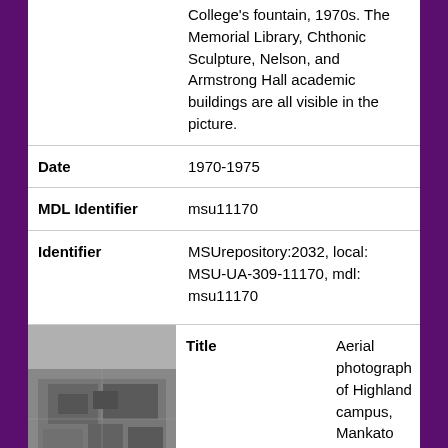College's fountain, 1970s. The Memorial Library, Chthonic Sculpture, Nelson, and Armstrong Hall academic buildings are all visible in the picture.
| Date | 1970-1975 |
| MDL Identifier | msu11170 |
| Identifier | MSUrepository:2032, local: MSU-UA-309-11170, mdl: msu11170 |
[Figure (photo): Black and white aerial photograph of Highland campus, Mankato State College, Early 1970s.]
| Title | Aerial photograph of Highland campus, Mankato State College, Early 1970s. |
| Subject | Education--Aerial views--Armstrong Hall--Blakeslee Stadium--Buildings--Campus Mall--Mankato State College--Memorial Library--Morris Hall--Nelson Hall--The Fountain, Education--Aerial views--Armstrong Hall--Blakeslee |